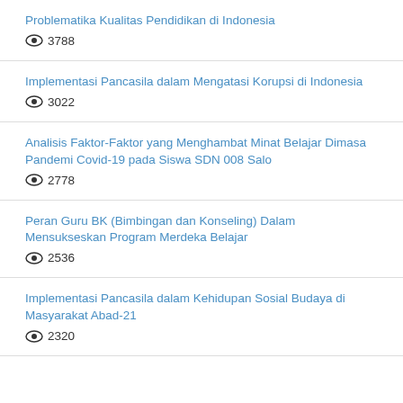Problematika Kualitas Pendidikan di Indonesia
👁 3788
Implementasi Pancasila dalam Mengatasi Korupsi di Indonesia
👁 3022
Analisis Faktor-Faktor yang Menghambat Minat Belajar Dimasa Pandemi Covid-19 pada Siswa SDN 008 Salo
👁 2778
Peran Guru BK (Bimbingan dan Konseling) Dalam Mensukseskan Program Merdeka Belajar
👁 2536
Implementasi Pancasila dalam Kehidupan Sosial Budaya di Masyarakat Abad-21
👁 2320